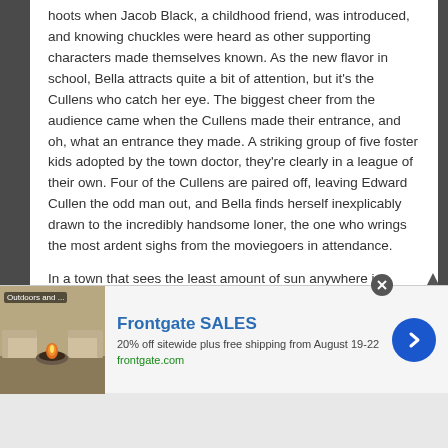hoots when Jacob Black, a childhood friend, was introduced, and knowing chuckles were heard as other supporting characters made themselves known. As the new flavor in school, Bella attracts quite a bit of attention, but it's the Cullens who catch her eye. The biggest cheer from the audience came when the Cullens made their entrance, and oh, what an entrance they made. A striking group of five foster kids adopted by the town doctor, they're clearly in a league of their own. Four of the Cullens are paired off, leaving Edward Cullen the odd man out, and Bella finds herself inexplicably drawn to the incredibly handsome loner, the one who wrings the most ardent sighs from the moviegoers in attendance.
In a town that sees the least amount of sun anywhere in
[Figure (screenshot): Advertisement banner for Frontgate SALES showing outdoor furniture with fire pit, text '20% off sitewide plus free shipping from August 19-22', URL frontgate.com, and a blue arrow button]